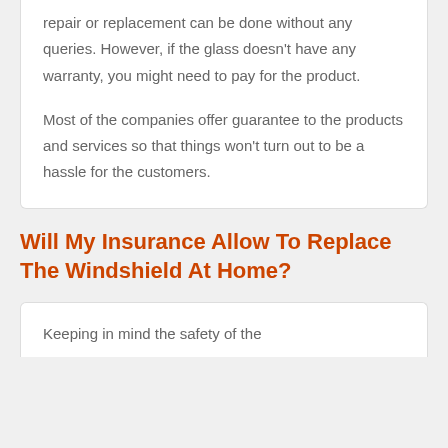repair or replacement can be done without any queries. However, if the glass doesn't have any warranty, you might need to pay for the product.

Most of the companies offer guarantee to the products and services so that things won't turn out to be a hassle for the customers.
Will My Insurance Allow To Replace The Windshield At Home?
Keeping in mind the safety of the